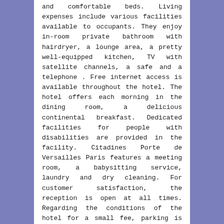and comfortable beds. Living expenses include various facilities available to occupants. They enjoy in-room private bathroom with hairdryer, a lounge area, a pretty well-equipped kitchen, TV with satellite channels, a safe and a telephone . Free internet access is available throughout the hotel. The hotel offers each morning in the dining room, a delicious continental breakfast. Dedicated facilities for people with disabilities are provided in the facility. Citadines Porte de Versailles Paris features a meeting room, a babysitting service, laundry and dry cleaning. For customer satisfaction, the reception is open at all times. Regarding the conditions of the hotel for a small fee, parking is available a short walk away. Payment by credit card is accepted. And pets are allowed.
Holiday Inn Paris Versailles Bougival
To guarantee a successful stay, choose a quality hotel. Choose Holiday Inn Paris Versailles! The hotel is located in Bougival, a few minutes from the Château de Malmaison (former Napoleon's country house). The Palace of